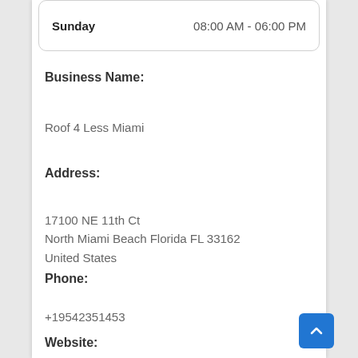| Day | Hours |
| --- | --- |
| Sunday | 08:00 AM - 06:00 PM |
Business Name:
Roof 4 Less Miami
Address:
17100 NE 11th Ct
North Miami Beach Florida FL 33162
United States
Phone:
+19542351453
Website: